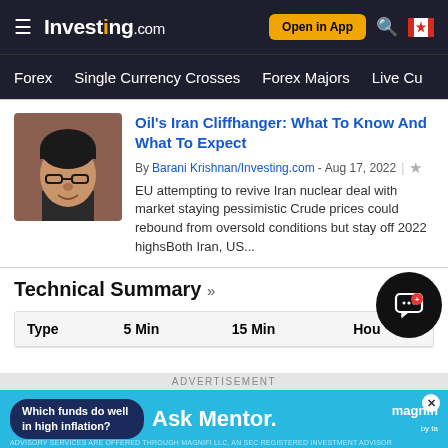Investing.com — Open in App — Search — Canada flag
Forex | Single Currency Crosses | Forex Majors | Live Cu
Oil's Iran Cliffhanger: What To Know And What To Expect
By Barani Krishnan/Investing.com - Aug 17, 2022
EU attempting to revive Iran nuclear deal with market staying pessimistic Crude prices could rebound from oversold conditions but stay off 2022 highsBoth Iran, US...
Technical Summary »
| Type | 5 Min | 15 Min | Hou |
| --- | --- | --- | --- |
ADVERTISEMENT
[Figure (screenshot): Magnifi Ask Mentor advertisement banner — blue background with dark balloon showing 'Which funds do well in high inflation?' and 'Ask Mentor.' text with Magnifi logo]